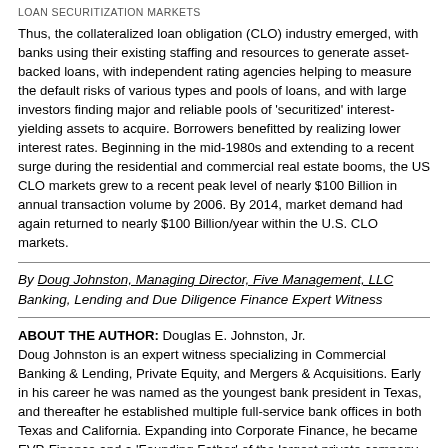LOAN SECURITIZATION MARKETS
Thus, the collateralized loan obligation (CLO) industry emerged, with banks using their existing staffing and resources to generate asset-backed loans, with independent rating agencies helping to measure the default risks of various types and pools of loans, and with large investors finding major and reliable pools of 'securitized' interest-yielding assets to acquire. Borrowers benefitted by realizing lower interest rates. Beginning in the mid-1980s and extending to a recent surge during the residential and commercial real estate booms, the US CLO markets grew to a recent peak level of nearly $100 Billion in annual transaction volume by 2006. By 2014, market demand had again returned to nearly $100 Billion/year within the U.S. CLO markets.
By Doug Johnston, Managing Director, Five Management, LLC
Banking, Lending and Due Diligence Finance Expert Witness
ABOUT THE AUTHOR: Douglas E. Johnston, Jr.
Doug Johnston is an expert witness specializing in Commercial Banking & Lending, Private Equity, and Mergers & Acquisitions. Early in his career he was named as the youngest bank president in Texas, and thereafter he established multiple full-service bank offices in both Texas and California. Expanding into Corporate Finance, he became EVP-Finance and a 'Founding Father' of the largest private company in Los Angeles. He has